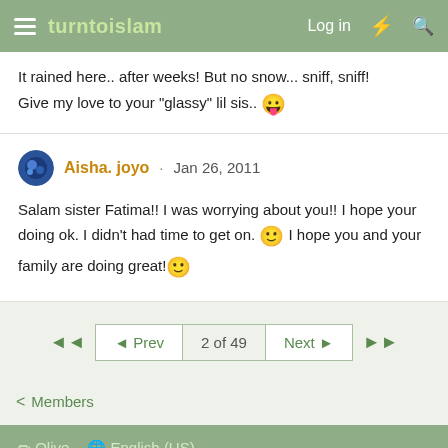turntoislam — Log in
It rained here.. after weeks! But no snow... sniff, sniff!
Give my love to your "glassy" lil sis.. 😛
Aisha. joyo · Jan 26, 2011
Salam sister Fatima!! I was worrying about you!! I hope your doing ok. I didn't had time to get on. 🙂 I hope you and your family are doing great!🙂
◄◄   ◄ Prev   2 of 49   Next ►   ►►
< Members
✏ Olive  🌐 English (US)
Contact us   Terms and rules   Privacy policy   Help   Home   [RSS]
Community platform by XenForo® © 2010-2021 XenForo Ltd.